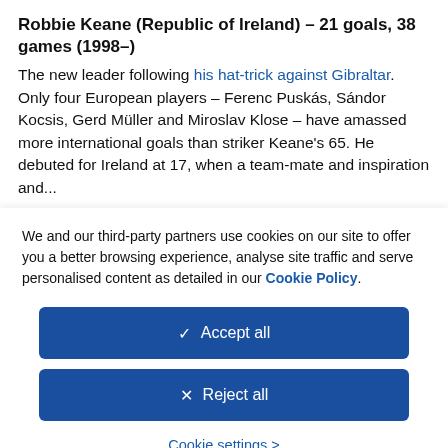Robbie Keane (Republic of Ireland) – 21 goals, 38 games (1998–)
The new leader following his hat-trick against Gibraltar. Only four European players – Ferenc Puskás, Sándor Kocsis, Gerd Müller and Miroslav Klose – have amassed more international goals than striker Keane's 65. He debuted for Ireland at 17, when a team-mate and inspiration and...
We and our third-party partners use cookies on our site to offer you a better browsing experience, analyse site traffic and serve personalised content as detailed in our Cookie Policy.
✓ Accept all
✕ Reject all
Cookie settings >